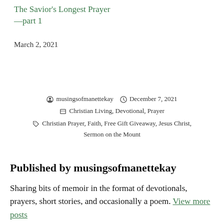The Savior's Longest Prayer —part 1
March 2, 2021
by musingsofmanettekay   December 7, 2021
Christian Living, Devotional, Prayer
Christian Prayer, Faith, Free Gift Giveaway, Jesus Christ, Sermon on the Mount
Published by musingsofmanettekay
Sharing bits of memoir in the format of devotionals, prayers, short stories, and occasionally a poem. View more posts